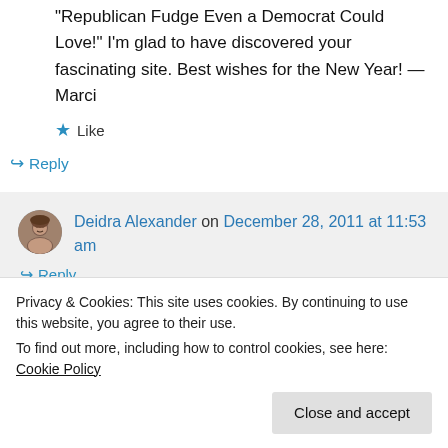“Republican Fudge Even a Democrat Could Love!” I’m glad to have discovered your fascinating site. Best wishes for the New Year! —Marci
★ Like
➜ Reply
Deidra Alexander on December 28, 2011 at 11:53 am
➜ Reply
Privacy & Cookies: This site uses cookies. By continuing to use this website, you agree to their use.
To find out more, including how to control cookies, see here: Cookie Policy
Close and accept